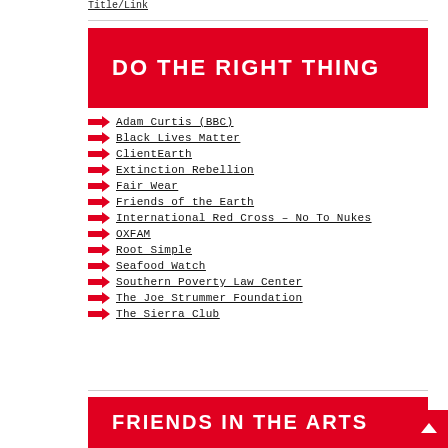Title/Link
DO THE RIGHT THING
Adam Curtis (BBC)
Black Lives Matter
ClientEarth
Extinction Rebellion
Fair Wear
Friends of the Earth
International Red Cross – No To Nukes
OXFAM
Root Simple
Seafood Watch
Southern Poverty Law Center
The Joe Strummer Foundation
The Sierra Club
FRIENDS IN THE ARTS